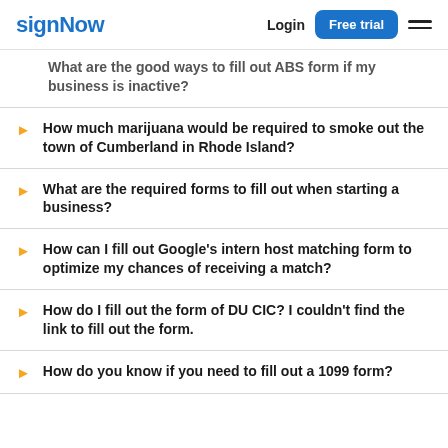signNow | Login | Free trial
What are the good ways to fill out ABS form if my business is inactive?
How much marijuana would be required to smoke out the town of Cumberland in Rhode Island?
What are the required forms to fill out when starting a business?
How can I fill out Google's intern host matching form to optimize my chances of receiving a match?
How do I fill out the form of DU CIC? I couldn't find the link to fill out the form.
How do you know if you need to fill out a 1099 form?